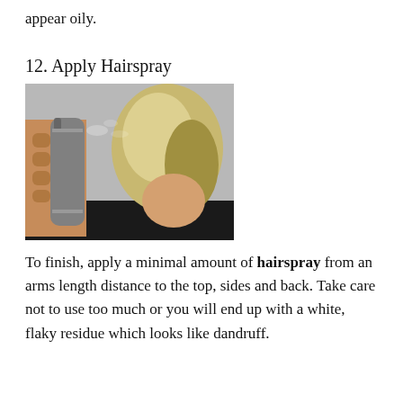appear oily.
12. Apply Hairspray
[Figure (photo): Person holding a hairspray can, spraying toward the back of a blonde woman's head, grey background.]
To finish, apply a minimal amount of hairspray from an arms length distance to the top, sides and back. Take care not to use too much or you will end up with a white, flaky residue which looks like dandruff.